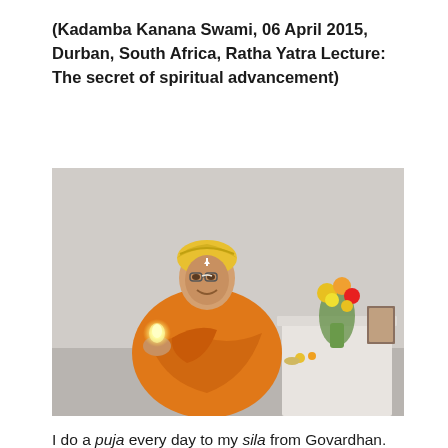(Kadamba Kanana Swami, 06 April 2015, Durban, South Africa, Ratha Yatra Lecture: The secret of spiritual advancement)
[Figure (photo): A swami in orange robes and yellow head wrap, smiling and holding a small candle flame, standing near a table with flowers in a vase and a framed picture, performing puja.]
I do a puja every day to my sila from Govardhan. Taking Govardhan silas, or the sacred stones of Govardhan, is not a cheap thing and if